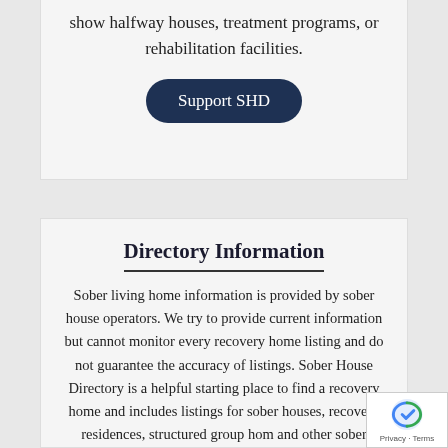show halfway houses, treatment programs, or rehabilitation facilities.
Support SHD
Directory Information
Sober living home information is provided by sober house operators. We try to provide current information but cannot monitor every recovery home listing and do not guarantee the accuracy of listings. Sober House Directory is a helpful starting place to find a recovery home and includes listings for sober houses, recovery residences, structured group homes and other sober living for men and women in recovery. Research the home before you make a